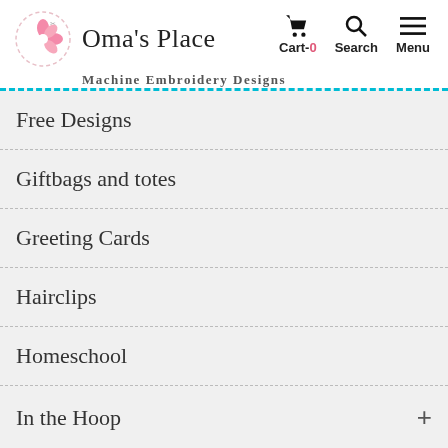Oma's Place — Machine Embroidery Designs
Free Designs
Giftbags and totes
Greeting Cards
Hairclips
Homeschool
In the Hoop
Kitchen